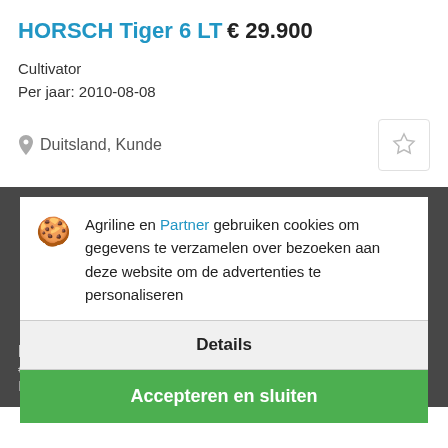HORSCH Tiger 6 LT
€ 29.900
Cultivator
Per jaar: 2010-08-08
Duitsland, Kunde
Agriline en Partner gebruiken cookies om gegevens te verzamelen over bezoeken aan deze website om de advertenties te personaliseren
Details
Accepteren en sluiten